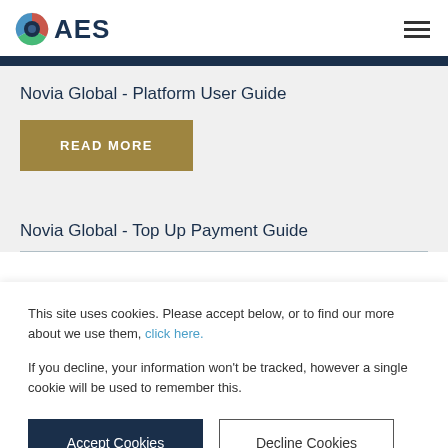[Figure (logo): AES logo with circular multicolor icon and 'AES' text in navy]
Novia Global - Platform User Guide
READ MORE
Novia Global - Top Up Payment Guide
This site uses cookies. Please accept below, or to find our more about we use them, click here.
If you decline, your information won't be tracked, however a single cookie will be used to remember this.
Accept Cookies
Decline Cookies